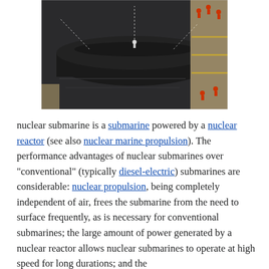[Figure (photo): Aerial/overhead photograph of a black nuclear submarine in a dock or harbor, with people in orange/red vests visible on the dock edges and ropes/cables attached to the submarine. The submarine occupies most of the image, surrounded by dark water.]
nuclear submarine is a submarine powered by a nuclear reactor (see also nuclear marine propulsion). The performance advantages of nuclear submarines over "conventional" (typically diesel-electric) submarines are considerable: nuclear propulsion, being completely independent of air, frees the submarine from the need to surface frequently, as is necessary for conventional submarines; the large amount of power generated by a nuclear reactor allows nuclear submarines to operate at high speed for long durations; and the [text continues below]